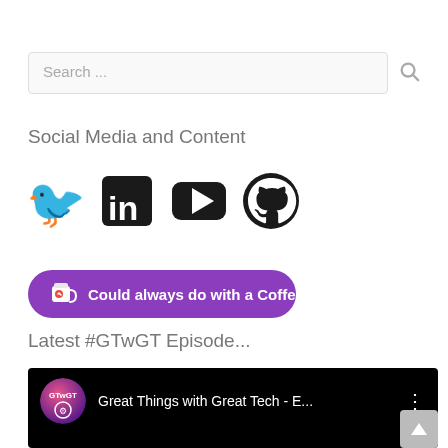Search ...
Social Media and Content
[Figure (infographic): Four social media icons: Twitter bird, LinkedIn 'in', YouTube play button, GitHub octocat]
[Figure (infographic): Purple button with Ko-fi cup icon and text: Could always do with a Coffee!]
Latest #GTwGT Episode...
[Figure (screenshot): YouTube video embed showing 'Great Things with Great Tech - E...' with GTwGT channel logo on black background]